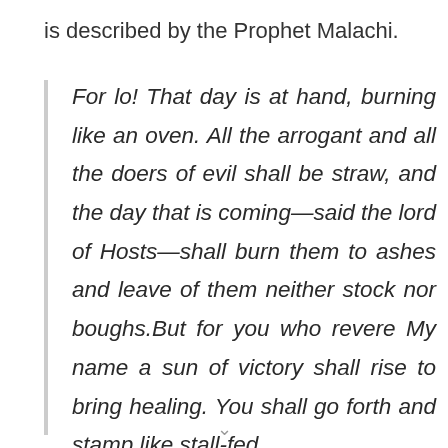is described by the Prophet Malachi.
For lo! That day is at hand, burning like an oven. All the arrogant and all the doers of evil shall be straw, and the day that is coming—said the lord of Hosts—shall burn them to ashes and leave of them neither stock nor boughs.But for you who revere My name a sun of victory shall rise to bring healing. You shall go forth and stamp like stall-fed